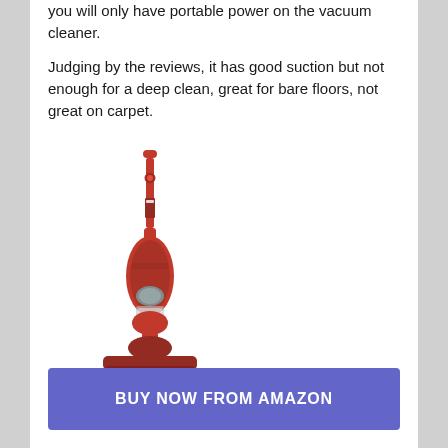you will only have portable power on the vacuum cleaner.
Judging by the reviews, it has good suction but not enough for a deep clean, great for bare floors, not great on carpet.
[Figure (photo): A red cordless stick vacuum cleaner shown upright, full length view.]
BUY NOW FROM AMAZON